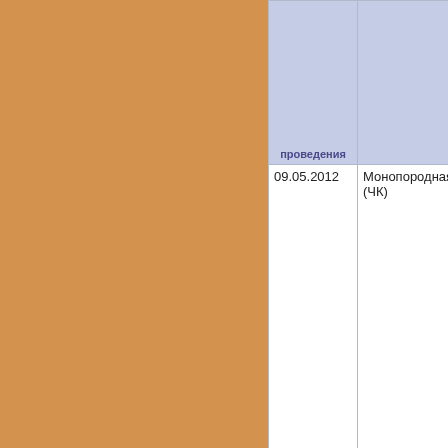[Figure (other): Left decorative panel with tan/orange background color]
| проведения |  |  |
| --- | --- | --- |
| 09.05.2012 | Монопородная (ЧК) | Седьм... Моно... «БИГУ... Клуба... Россия... |
| 08.10.2011 | Монопородная (ПК) | Моно... Россия... |
| 26.06.2011 | Монопородная (КЧК) | Моно... Россия... |